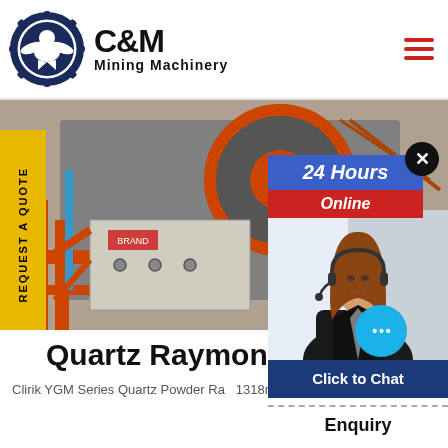[Figure (logo): C&M Mining Machinery logo with eagle/gear icon]
[Figure (photo): Mining machinery jaw crusher equipment with orange/red structural frame and large flywheel]
REQUEST A QUOTE
24 Hours Online
[Figure (photo): Customer service representative woman with headset smiling]
Quartz Raymond Powder
Clirik YGM Series Quartz Powder Ra 1318r/min as Request T 50450 Mesh
Click to Chat
Enquiry